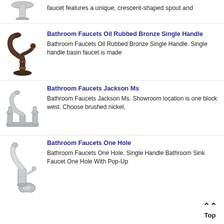faucet features a unique, crescent-shaped spout and
[Figure (photo): Oil rubbed bronze single handle bathroom faucet]
Bathroom Faucets Oil Rubbed Bronze Single Handle
Bathroom Faucets Oil Rubbed Bronze Single Handle. Single handle basin faucet is made
[Figure (photo): Brushed nickel widespread bathroom faucet (Jackson Ms style)]
Bathroom Faucets Jackson Ms
Bathroom Faucets Jackson Ms. Showroom location is one block west. Choose brushed nickel,
[Figure (photo): Chrome single hole bathroom faucet with pop-up drain]
Bathroom Faucets One Hole
Bathroom Faucets One Hole. Single Handle Bathroom Sink Faucet One Hole With Pop-Up